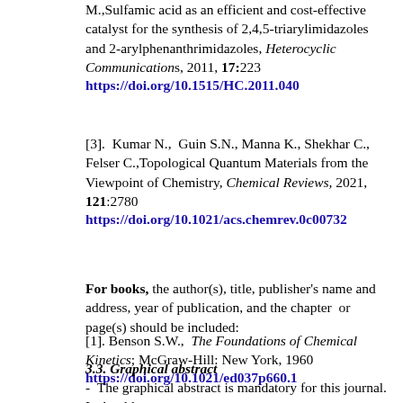M.,Sulfamic acid as an efficient and cost-effective catalyst for the synthesis of 2,4,5-triarylimidazoles and 2-arylphenanthrimidazoles, Heterocyclic Communications, 2011, 17:223 https://doi.org/10.1515/HC.2011.040
[3]. Kumar N., Guin S.N., Manna K., Shekhar C., Felser C.,Topological Quantum Materials from the Viewpoint of Chemistry, Chemical Reviews, 2021, 121:2780 https://doi.org/10.1021/acs.chemrev.0c00732
For books, the author(s), title, publisher's name and address, year of publication, and the chapter or page(s) should be included:
[1]. Benson S.W., The Foundations of Chemical Kinetics; McGraw-Hill: New York, 1960 https://doi.org/10.1021/ed037p660.1
3.3. Graphical abstract
- The graphical abstract is mandatory for this journal. It should